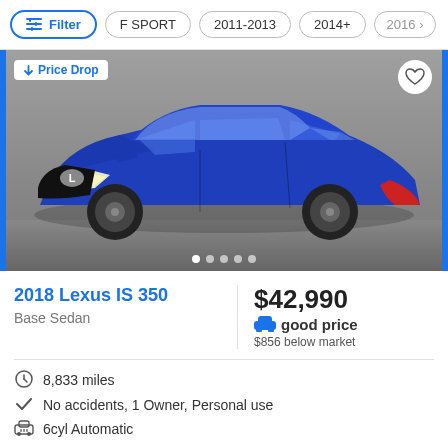Filter | F SPORT | 2011-2013 | 2014+ | 2016>
[Figure (photo): Blue 2018 Lexus IS 350 sedan parked in a showroom, front three-quarter view. Price Drop badge in upper left. Heart/favorite button in upper right. Five image navigation dots at bottom.]
2018 Lexus IS 350
Base Sedan
$42,990
good price
$856 below market
8,833 miles
No accidents, 1 Owner, Personal use
6cyl Automatic